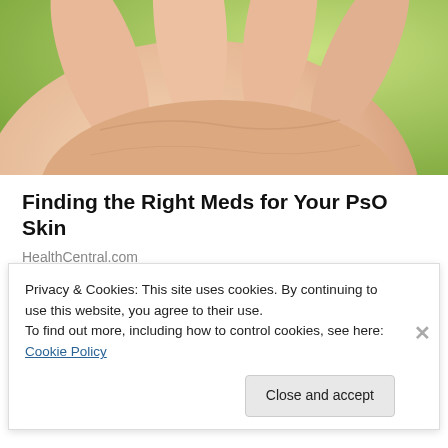[Figure (photo): Close-up photo of a person's open palm/hand against a blurred green outdoor background]
Finding the Right Meds for Your PsO Skin
HealthCentral.com
Share this:
[Figure (infographic): Row of social media sharing icons: two grey circles, blue Facebook circle, light blue Twitter circle, dark navy circle, red circle, teal/blue circle]
Privacy & Cookies: This site uses cookies. By continuing to use this website, you agree to their use.
To find out more, including how to control cookies, see here: Cookie Policy
Close and accept